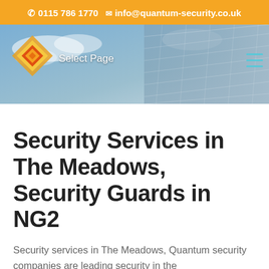0115 786 1770  info@quantum-security.co.uk
[Figure (screenshot): Navigation bar with Quantum Security logo (diamond shape in orange/yellow), 'Select Page' text, and hamburger menu icon on a background photo of sky and glass building]
Security Services in The Meadows, Security Guards in NG2
Security services in The Meadows, Quantum security companies are leading security in the